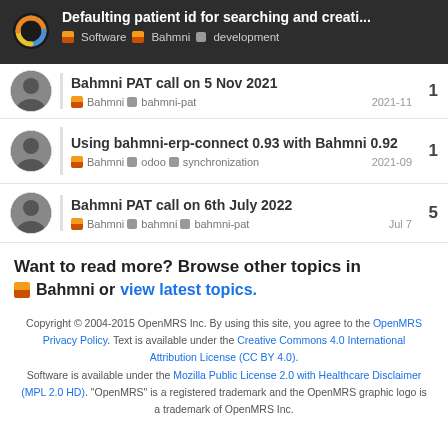Defaulting patient id for searching and creati... | Software | Bahmni | development
Bahmni PAT call on 5 Nov 2021 | Bahmni | bahmni-pat | 2021-11 | replies: 1
Using bahmni-erp-connect 0.93 with Bahmni 0.92 | Bahmni | odoo | synchronization | 2021-09 | replies: 1
Bahmni PAT call on 6th July 2022 | Bahmni | bahmni | bahmni-pat | Jul 7 | replies: 5
Want to read more? Browse other topics in Bahmni or view latest topics.
Copyright © 2004-2015 OpenMRS Inc. By using this site, you agree to the OpenMRS Privacy Policy. Text is available under the Creative Commons 4.0 International Attribution License (CC BY 4.0). Software is available under the Mozilla Public License 2.0 with Healthcare Disclaimer (MPL 2.0 HD). "OpenMRS" is a registered trademark and the OpenMRS graphic logo is a trademark of OpenMRS Inc.